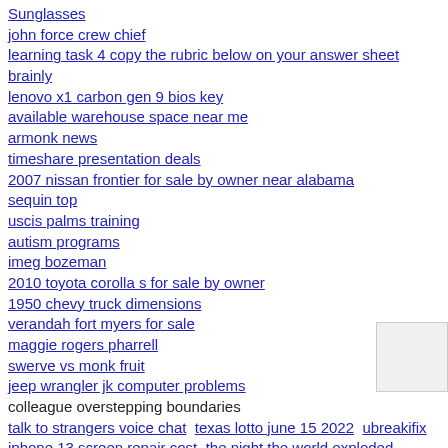Sunglasses
john force crew chief
learning task 4 copy the rubric below on your answer sheet brainly
lenovo x1 carbon gen 9 bios key
available warehouse space near me
armonk news
timeshare presentation deals
2007 nissan frontier for sale by owner near alabama
sequin top
uscis palms training
autism programs
imeg bozeman
2010 toyota corolla s for sale by owner
1950 chevy truck dimensions
verandah fort myers for sale
maggie rogers pharrell
swerve vs monk fruit
jeep wrangler jk computer problems
colleague overstepping boundaries
talk to strangers voice chat   texas lotto june 15 2022   ubreakifix
iphone 13 screen repair cost   the night the world exploded
App Exclusive - Extra 20% Off Heatwave Styles!*
£1 Next Day Delivery!* use code: POUND
SUBSCRIBE AND GET AN EXTRA 10% OFF!*